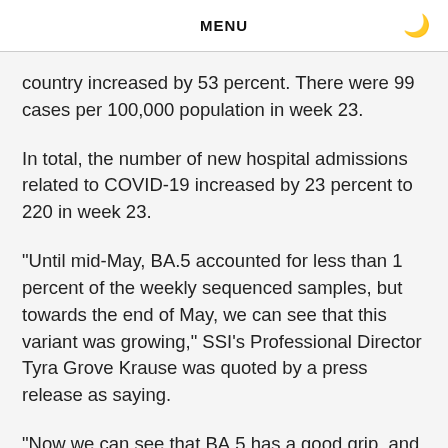MENU
country increased by 53 percent. There were 99 cases per 100,000 population in week 23.
In total, the number of new hospital admissions related to COVID-19 increased by 23 percent to 220 in week 23.
"Until mid-May, BA.5 accounted for less than 1 percent of the weekly sequenced samples, but towards the end of May, we can see that this variant was growing," SSI's Professional Director Tyra Grove Krause was quoted by a press release as saying.
"Now we can see that BA.5 has a good grip, and we